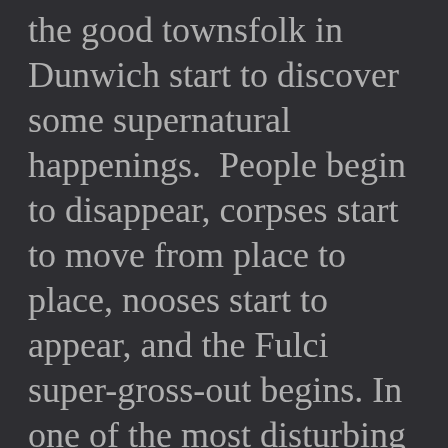the good townsfolk in Dunwich start to discover some supernatural happenings.  People begin to disappear, corpses start to move from place to place, nooses start to appear, and the Fulci super-gross-out begins. In one of the most disturbing scenes ever, a young woman out on a date with her beau, begins to continuously vomit a melange of worms, body parts, blood, fluids, and who knows what else. Of course these Dunwich simpletons don't jump to any